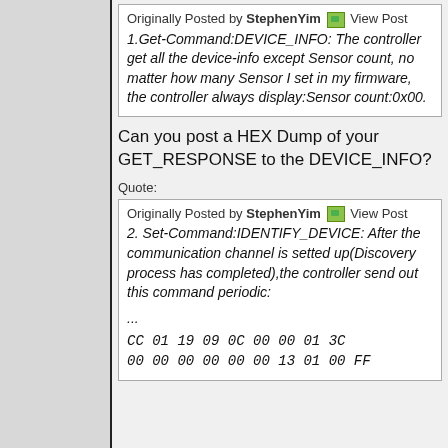Originally Posted by StephenYim [View Post] 1.Get-Command:DEVICE_INFO: The controller get all the device-info except Sensor count, no matter how many Sensor I set in my firmware, the controller always display:Sensor count:0x00.
Can you post a HEX Dump of your GET_RESPONSE to the DEVICE_INFO?
Quote:
Originally Posted by StephenYim [View Post] 2. Set-Command:IDENTIFY_DEVICE: After the communication channel is setted up(Discovery process has completed),the controller send out this command periodic:
...
CC 01 19 09 0C 00 00 01 3C 00 00 00 00 00 00 13 01 00 FF